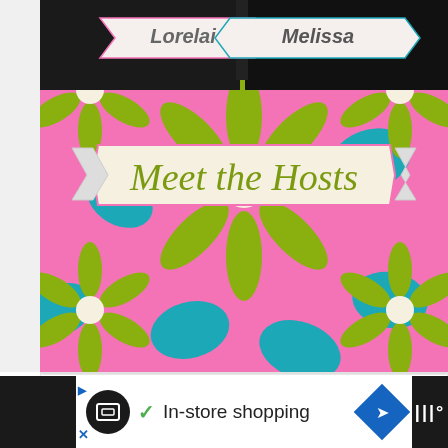[Figure (illustration): Decorative floral background with pink, teal, and green colors. Two banner ribbons at top labeled 'Lorelai' and 'Melissa'. A large center banner ribbon reads 'Meet the Hosts' in olive/green cursive script.]
WHAT'S NEXT → Make Repurposed...
In-store shopping